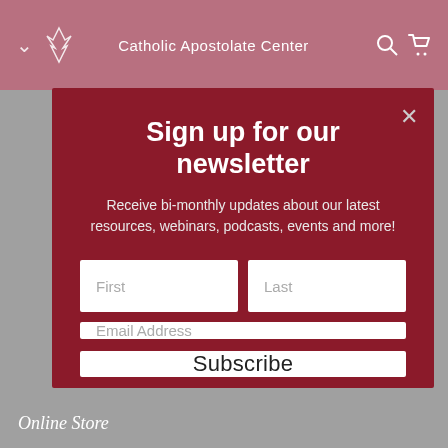Catholic Apostolate Center
Sign up for our newsletter
Receive bi-monthly updates about our latest resources, webinars, podcasts, events and more!
First
Last
Email Address
Subscribe
Online Store